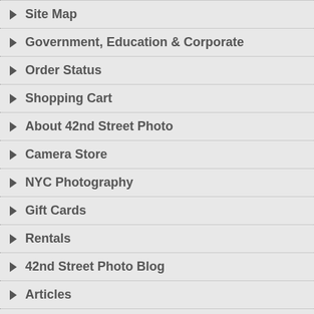Site Map
Government, Education & Corporate
Order Status
Shopping Cart
About 42nd Street Photo
Camera Store
NYC Photography
Gift Cards
Rentals
42nd Street Photo Blog
Articles
Financing
CONTACT INFO